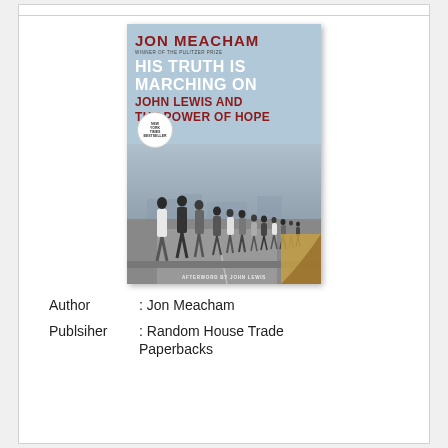[Figure (photo): Book cover of 'His Truth Is Marching On: John Lewis and the Power of Hope' by Jon Meacham. Cover shows a photograph of civil rights marchers walking along a road. Text on cover: JON MEACHAM, WINNER OF THE PULITZER PRIZE, HIS TRUTH IS MARCHING ON, JOHN LEWIS AND THE POWER OF HOPE, New York Times Bestseller badge, AFTERWORD BY JOHN LEWIS.]
Author           : Jon Meacham
Publsiher        : Random House Trade Paperbacks